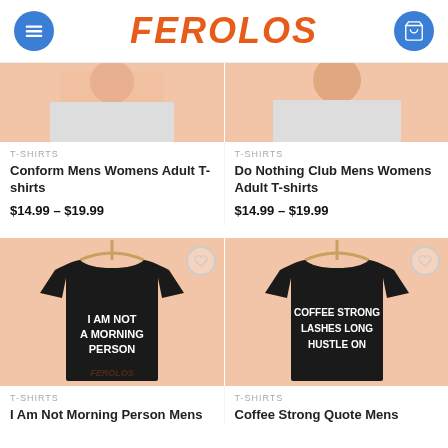FEROLOS
[Figure (photo): Top portion of a t-shirt product photo on peach background - Conform Mens Womens Adult T-shirts]
[Figure (photo): Top portion of a t-shirt product photo on peach background - Do Nothing Club Mens Womens Adult T-shirts]
T-SHIRTS
Conform Mens Womens Adult T-shirts
$14.99 – $19.99
T-SHIRTS
Do Nothing Club Mens Womens Adult T-shirts
$14.99 – $19.99
[Figure (photo): Black t-shirt on hanger with text 'I AM NOT A MORNING PERSON' on peach background]
[Figure (photo): Black t-shirt on hanger with text 'COFFEE STRONG LASHES LONG HUSTLE ON' on peach background]
T-SHIRTS
I Am Not Morning Person Mens
T-SHIRTS
Coffee Strong Quote Mens